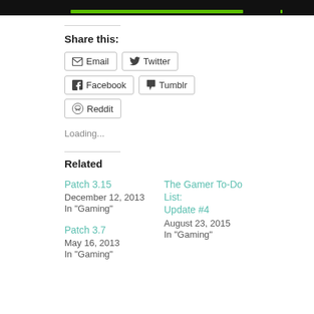[Figure (screenshot): Dark gaming screenshot strip at top with green bar element]
Share this:
Email
Twitter
Facebook
Tumblr
Reddit
Loading...
Related
Patch 3.15
December 12, 2013
In "Gaming"
The Gamer To-Do List: Update #4
August 23, 2015
In "Gaming"
Patch 3.7
May 16, 2013
In "Gaming"